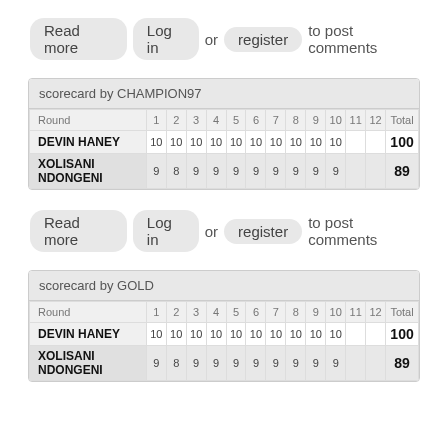Read more  Log in  or  register  to post comments
| scorecard by CHAMPION97 |  |  |  |  |  |  |  |  |  |  |  |  |
| --- | --- | --- | --- | --- | --- | --- | --- | --- | --- | --- | --- | --- |
| Round | 1 | 2 | 3 | 4 | 5 | 6 | 7 | 8 | 9 | 10 | 11 | 12 | Total |
| DEVIN HANEY | 10 | 10 | 10 | 10 | 10 | 10 | 10 | 10 | 10 | 10 |  |  | 100 |
| XOLISANI NDONGENI | 9 | 8 | 9 | 9 | 9 | 9 | 9 | 9 | 9 | 9 |  |  | 89 |
Read more  Log in  or  register  to post comments
| scorecard by GOLD |  |  |  |  |  |  |  |  |  |  |  |  |
| --- | --- | --- | --- | --- | --- | --- | --- | --- | --- | --- | --- | --- |
| Round | 1 | 2 | 3 | 4 | 5 | 6 | 7 | 8 | 9 | 10 | 11 | 12 | Total |
| DEVIN HANEY | 10 | 10 | 10 | 10 | 10 | 10 | 10 | 10 | 10 | 10 |  |  | 100 |
| XOLISANI NDONGENI | 9 | 8 | 9 | 9 | 9 | 9 | 9 | 9 | 9 | 9 |  |  | 89 |